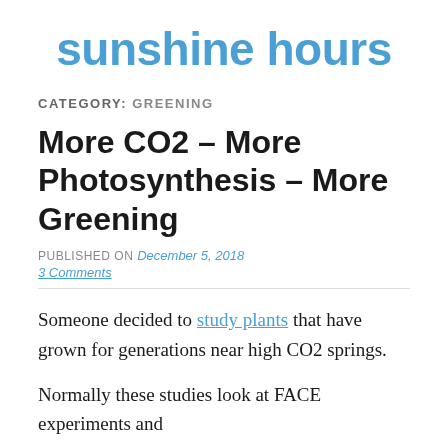sunshine hours
CATEGORY: GREENING
More CO2 – More Photosynthesis – More Greening
PUBLISHED ON December 5, 2018
3 Comments
Someone decided to study plants that have grown for generations near high CO2 springs.
Normally these studies look at FACE experiments and